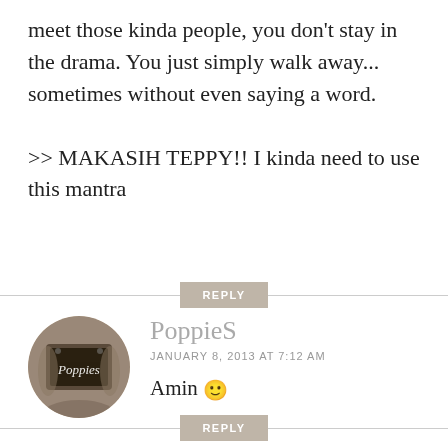meet those kinda people, you don't stay in the drama. You just simply walk away... sometimes without even saying a word.

>> MAKASIH TEPPY!! I kinda need to use this mantra
REPLY
PoppieS
JANUARY 8, 2013 AT 7:12 AM
Amin 🙂
REPLY